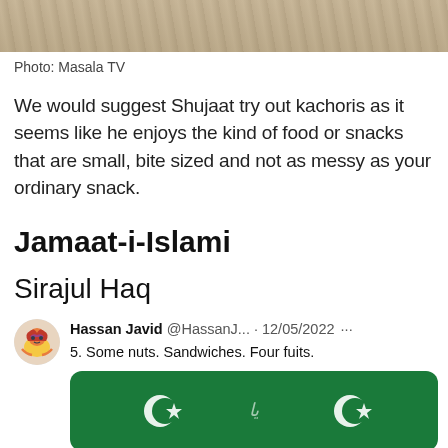[Figure (photo): Photo strip showing rocky/stone texture background at the top of the page]
Photo: Masala TV
We would suggest Shujaat try out kachoris as it seems like he enjoys the kind of food or snacks that are small, bite sized and not as messy as your ordinary snack.
Jamaat-i-Islami
Sirajul Haq
Hassan Javid @HassanJ... · 12/05/2022 ··· 5. Some nuts. Sandwiches. Four fuits.
[Figure (photo): Tweet image showing Pakistani flags (green with white crescent and star)]